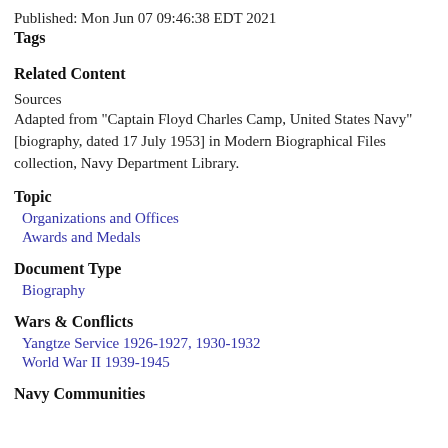Published: Mon Jun 07 09:46:38 EDT 2021
Tags
Related Content
Sources
Adapted from "Captain Floyd Charles Camp, United States Navy" [biography, dated 17 July 1953] in Modern Biographical Files collection, Navy Department Library.
Topic
Organizations and Offices
Awards and Medals
Document Type
Biography
Wars & Conflicts
Yangtze Service 1926-1927, 1930-1932
World War II 1939-1945
Navy Communities